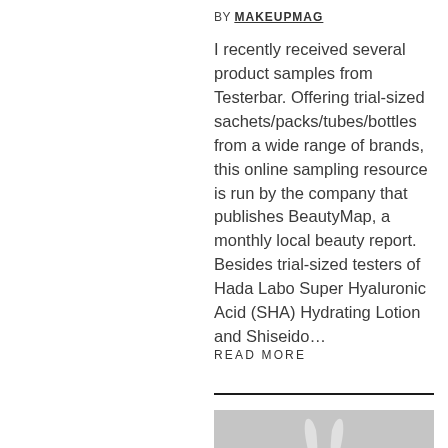BY MAKEUPMAG
I recently received several product samples from Testerbar. Offering trial-sized sachets/packs/tubes/bottles from a wide range of brands, this online sampling resource is run by the company that publishes BeautyMap, a monthly local beauty report. Besides trial-sized testers of Hada Labo Super Hyaluronic Acid (SHA) Hydrating Lotion and Shiseido…
READ MORE
[Figure (photo): A white decorative rabbit figurine or white cream tube against a light grey background]